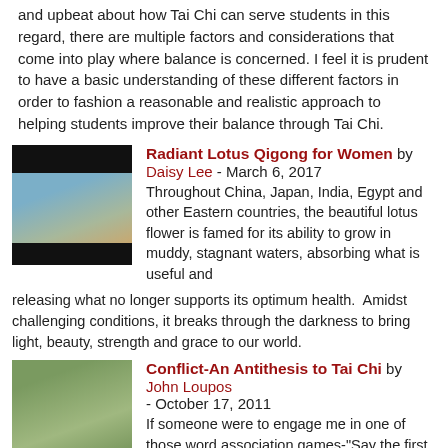and upbeat about how Tai Chi can serve students in this regard, there are multiple factors and considerations that come into play where balance is concerned. I feel it is prudent to have a basic understanding of these different factors in order to fashion a reasonable and realistic approach to helping students improve their balance through Tai Chi.
[Figure (photo): Photo of a woman practicing Tai Chi outdoors on a rock with a mountainous background, framed by black bars at top and bottom.]
Radiant Lotus Qigong for Women by Daisy Lee - March 6, 2017
Throughout China, Japan, India, Egypt and other Eastern countries, the beautiful lotus flower is famed for its ability to grow in muddy, stagnant waters, absorbing what is useful and releasing what no longer supports its optimum health. Amidst challenging conditions, it breaks through the darkness to bring light, beauty, strength and grace to our world.
[Figure (photo): Photo of a man sitting outdoors in a natural setting with trees in the background, smiling, wearing a white shirt.]
Conflict-An Antithesis to Tai Chi by John Loupos - October 17, 2011
If someone were to engage me in one of those word association games-"Say the first thing that comes to your mind when I say...Tai Chi"